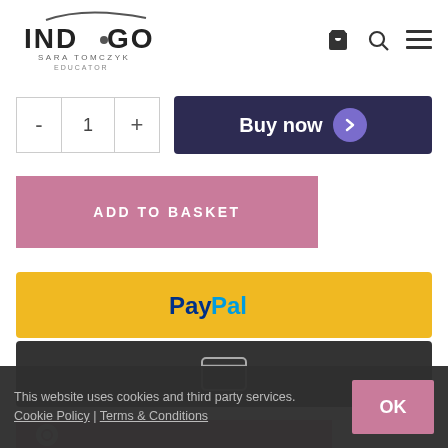[Figure (logo): Indigo Sara Tomczyk Educator logo with stylized swoosh above text]
[Figure (infographic): Navigation icons: shopping cart, search (magnifying glass), hamburger menu]
[Figure (infographic): Quantity selector with minus, 1, plus buttons and a Buy now button (dark navy with purple chevron circle)]
[Figure (infographic): Pink ADD TO BASKET button]
[Figure (infographic): Yellow PayPal payment button with PayPal logo]
[Figure (infographic): Dark card payment button with credit card icon]
This website uses cookies and third party services. Cookie Policy | Terms & Conditions
[Figure (infographic): OK button in pink for cookie consent]